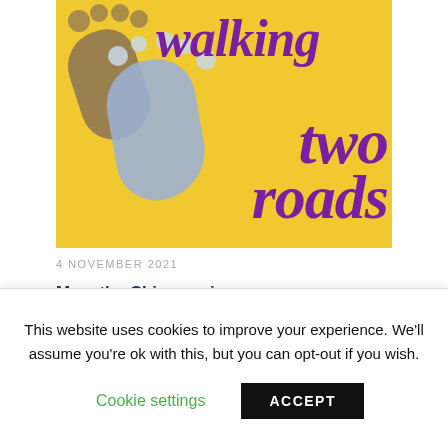[Figure (illustration): Book cover for 'Walking Two Roads' — yellow background with two overlapping footprints (one brown, one blue/purple) and toes rendered as circles. Large italic purple/magenta text reads 'walking two roads' in bold serif font.]
4 NOVEMBER 2021
Man, the Chinese view
Hans van Rappard 8 — From: Rappard, H. van (2009).
This website uses cookies to improve your experience. We'll assume you're ok with this, but you can opt-out if you wish.
Cookie settings
ACCEPT